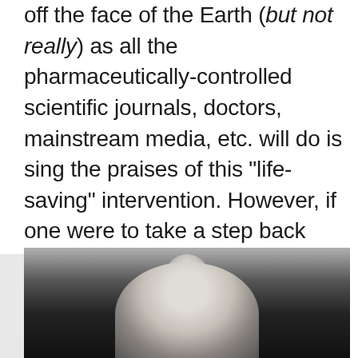off the face of the Earth (but not really) as all the pharmaceutically-controlled scientific journals, doctors, mainstream media, etc. will do is sing the praises of this “life-saving” intervention. However, if one were to take a step back and look throughout history, one would see that the opposition has been present all along, raising awareness to this dangerous practice and providing solid and compelling evidence backing this position.
[Figure (photo): Black and white photograph of a person, showing their head and upper shoulders, on a light grey background.]